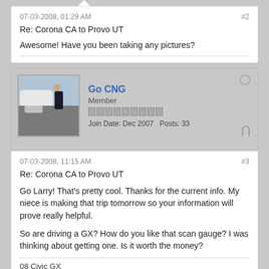07-03-2008, 01:29 AM
#2
Re: Corona CA to Provo UT
Awesome! Have you been taking any pictures?
Go CNG
Member
Join Date: Dec 2007  Posts: 33
07-03-2008, 11:15 AM
#3
Re: Corona CA to Provo UT
Go Larry! That's pretty cool. Thanks for the current info. My niece is making that trip tomorrow so your information will prove really helpful.
So are driving a GX? How do you like that scan gauge? I was thinking about getting one. Is it worth the money?
08 Civic GX